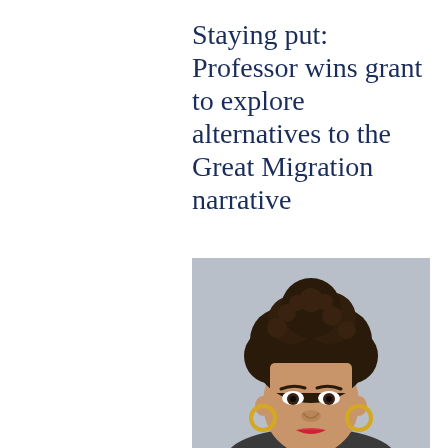Staying put: Professor wins grant to explore alternatives to the Great Migration narrative
[Figure (photo): Portrait photo of a young woman with natural curly hair styled upward, wearing gold hoop earrings and red lipstick, photographed against a light grey background.]